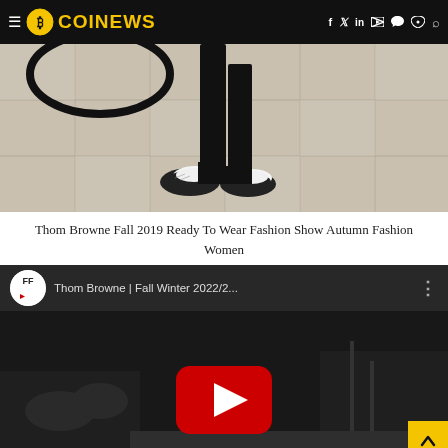COINEWS — navigation header with logo and social icons
[Figure (photo): Close-up of feet wearing black and white brogue shoes on a tiled floor, from a fashion show. Thom Browne Fall 2019.]
Thom Browne Fall 2019 Ready To Wear Fashion Show Autumn Fashion Women
[Figure (screenshot): YouTube video embed showing 'Thom Browne | Fall Winter 2022/2...' with YouTube play button and channel avatar. Dark background with fashion show imagery.]